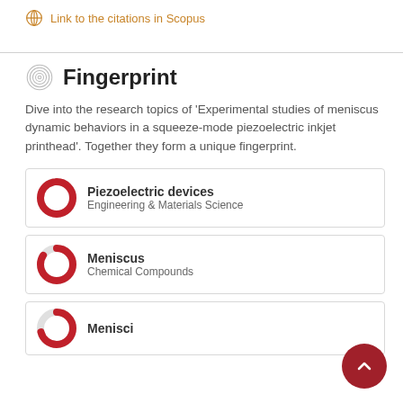Link to the citations in Scopus
Fingerprint
Dive into the research topics of 'Experimental studies of meniscus dynamic behaviors in a squeeze-mode piezoelectric inkjet printhead'. Together they form a unique fingerprint.
Piezoelectric devices — Engineering & Materials Science
Meniscus — Chemical Compounds
Menisci